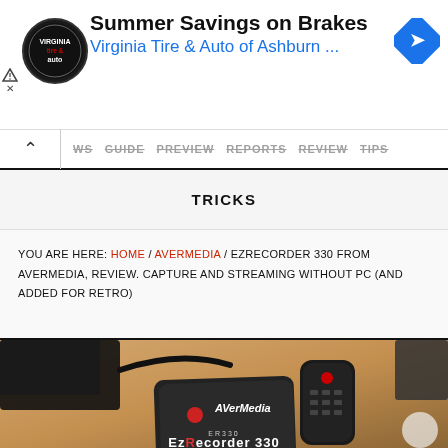[Figure (other): Advertisement banner for Virginia Tire & Auto of Ashburn with logo, headline Summer Savings on Brakes, and navigation arrow icon]
WS  GUIDE  PREVIEW  REPORTS  REVIEW  TIPS
TRICKS
YOU ARE HERE: HOME / AVERMEDIA / EZRECORDER 330 FROM AVERMEDIA, REVIEW. CAPTURE AND STREAMING WITHOUT PC (AND ADDED FOR RETRO)
[Figure (photo): Product photo of AverMedia EzRecorder 330 capture device on a wooden table with remote control, HDMI cable, gaming controllers and storage devices. Text at bottom: ER330 EzRecorder 330]